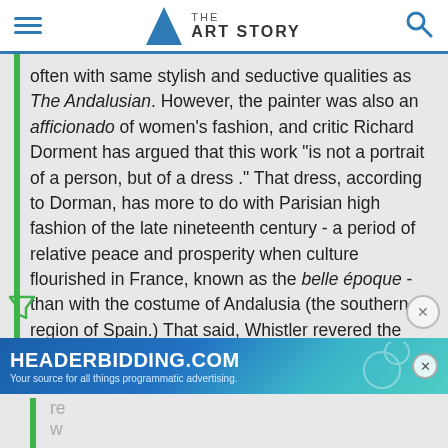THE ART STORY
often with same stylish and seductive qualities as The Andalusian. However, the painter was also an afficionado of women's fashion, and critic Richard Dorment has argued that this work "is not a portrait of a person, but of a dress ." That dress, according to Dorman, has more to do with Parisian high fashion of the late nineteenth century - a period of relative peace and prosperity when culture flourished in France, known as the belle époque - than with the costume of Andalusia (the southern region of Spain.) That said, Whistler revered the 17th-century Spanish painter Diego Velázquez, and it is likely that the muted color palette and understated brushwork
[Figure (other): Advertisement banner for HEADERBIDDING.COM - Your source for all things programmatic advertising.]